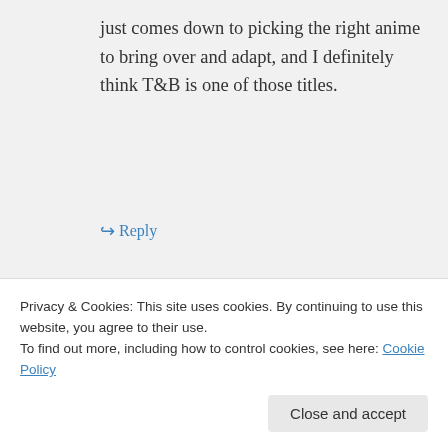just comes down to picking the right anime to bring over and adapt, and I definitely think T&B is one of those titles.
↪ Reply
Darke Angelus on January 22, 2012 at 23:38
I appreciate the much thought-out diatribe to my innocuous comment.
movie TEARS before it was ever
Privacy & Cookies: This site uses cookies. By continuing to use this website, you agree to their use.
To find out more, including how to control cookies, see here: Cookie Policy